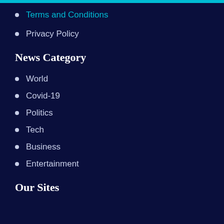Terms and Conditions
Privacy Policy
News Category
World
Covid-19
Politics
Tech
Business
Entertainment
Our Sites